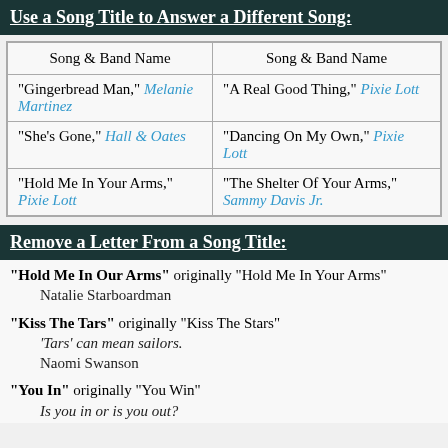Use a Song Title to Answer a Different Song:
| Song & Band Name | Song & Band Name |
| --- | --- |
| "Gingerbread Man," Melanie Martinez | "A Real Good Thing," Pixie Lott |
| "She's Gone," Hall & Oates | "Dancing On My Own," Pixie Lott |
| "Hold Me In Your Arms," Pixie Lott | "The Shelter Of Your Arms," Sammy Davis Jr. |
Remove a Letter From a Song Title:
"Hold Me In Our Arms" originally "Hold Me In Your Arms" Natalie Starboardman
"Kiss The Tars" originally "Kiss The Stars" 'Tars' can mean sailors. Naomi Swanson
"You In" originally "You Win" Is you in or is you out?